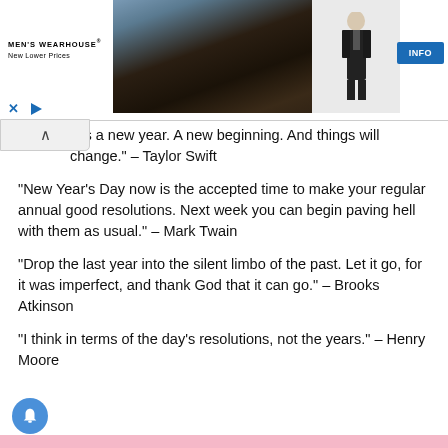[Figure (screenshot): Men's Wearhouse advertisement banner with couple in formalwear and suit figure, INFO button]
s is a new year. A new beginning. And things will change." – Taylor Swift
"New Year's Day now is the accepted time to make your regular annual good resolutions. Next week you can begin paving hell with them as usual." – Mark Twain
"Drop the last year into the silent limbo of the past. Let it go, for it was imperfect, and thank God that it can go." – Brooks Atkinson
"I think in terms of the day's resolutions, not the years." – Henry Moore